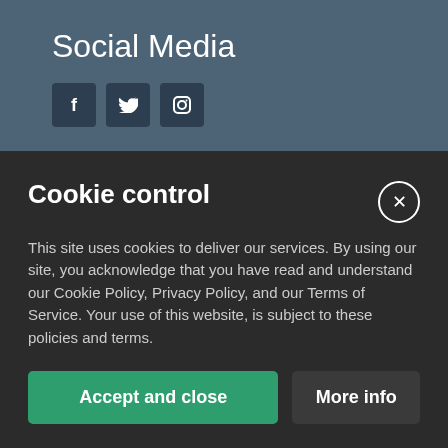Social Media
[Figure (illustration): Three social media icon buttons: Facebook (f), Twitter (bird), Instagram (camera)]
Opening Hours
Monday:
8.30am – 5.30pm
Tuesday:
Cookie control
This site uses cookies to deliver our services. By using our site, you acknowledge that you have read and understand our Cookie Policy, Privacy Policy, and our Terms of Service. Your use of this website, is subject to these policies and terms.
Accept and close
More info